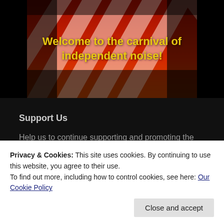[Figure (photo): Carnival/circus themed banner image with red and white diagonal stripes and dramatic orange/red lighting, with yellow bold text overlay reading 'Welcome to the carnival of independent noise!']
Welcome to the carnival of independent noise!
Support Us
Help us to continue supporting and promoting the independent scene
£1.00
Privacy & Cookies: This site uses cookies. By continuing to use this website, you agree to their use.
To find out more, including how to control cookies, see here: Our Cookie Policy